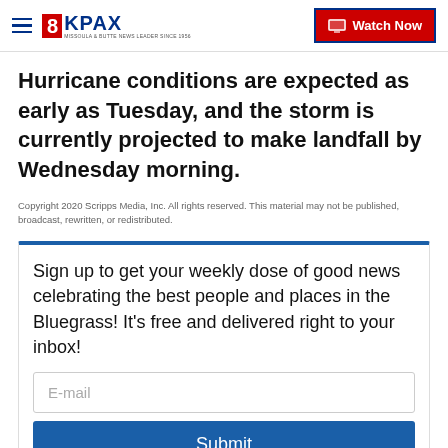8KPAX | Watch Now
Hurricane conditions are expected as early as Tuesday, and the storm is currently projected to make landfall by Wednesday morning.
Copyright 2020 Scripps Media, Inc. All rights reserved. This material may not be published, broadcast, rewritten, or redistributed.
Sign up to get your weekly dose of good news celebrating the best people and places in the Bluegrass! It's free and delivered right to your inbox!